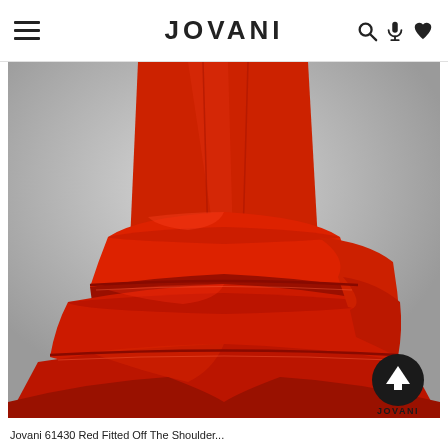JOVANI
[Figure (photo): A model wearing a red fitted off-the-shoulder ball gown by Jovani with tiered ruffled skirt and satin fabric, photographed against a light grey background. The Jovani logo watermark appears in the bottom right corner of the image.]
Jovani 61430 Red Fitted Off The Shoulder...